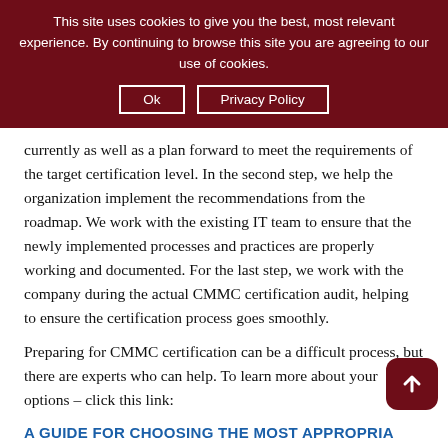This site uses cookies to give you the best, most relevant experience. By continuing to browse this site you are agreeing to our use of cookies. Ok | Privacy Policy
currently as well as a plan forward to meet the requirements of the target certification level. In the second step, we help the organization implement the recommendations from the roadmap. We work with the existing IT team to ensure that the newly implemented processes and practices are properly working and documented. For the last step, we work with the company during the actual CMMC certification audit, helping to ensure the certification process goes smoothly.
Preparing for CMMC certification can be a difficult process, but there are experts who can help. To learn more about your options – click this link:
A GUIDE FOR CHOOSING THE MOST APPROPRIATE ROUTE FOR YOUR ORGANIZATION'S CMMC JOURNEY
Keep in mind, Vestige is a CMMC – Registered Provider